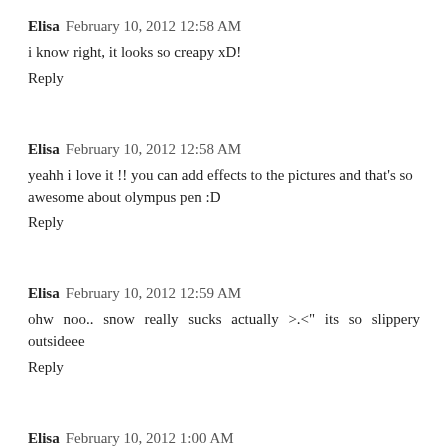Elisa  February 10, 2012 12:58 AM
i know right, it looks so creapy xD!
Reply
Elisa  February 10, 2012 12:58 AM
yeahh i love it !! you can add effects to the pictures and that's so awesome about olympus pen :D
Reply
Elisa  February 10, 2012 12:59 AM
ohw noo.. snow really sucks actually >.<" its so slippery outsideee
Reply
Elisa  February 10, 2012 1:00 AM
yeahhh, that's my baby nephew ^^ he's still 1 years old ='D and